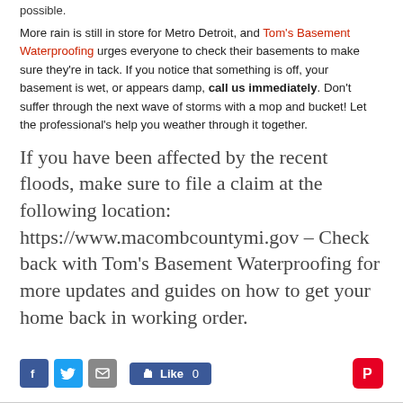possible.
More rain is still in store for Metro Detroit, and Tom's Basement Waterproofing urges everyone to check their basements to make sure they're in tack. If you notice that something is off, your basement is wet, or appears damp, call us immediately. Don't suffer through the next wave of storms with a mop and bucket! Let the professional's help you weather through it together.
If you have been affected by the recent floods, make sure to file a claim at the following location: https://www.macombcountymi.gov – Check back with Tom's Basement Waterproofing for more updates and guides on how to get your home back in working order.
[Figure (infographic): Social media sharing bar with Facebook, Twitter, email icons, a Facebook Like button showing 0 likes, and a Pinterest icon.]